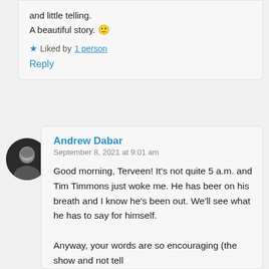and little telling.
A beautiful story. 🙂
★ Liked by 1 person
Reply
[Figure (photo): Circular avatar photo of a person in black and white]
Andrew Dabar
September 8, 2021 at 9:01 am
Good morning, Terveen! It's not quite 5 a.m. and Tim Timmons just woke me. He has beer on his breath and I know he's been out. We'll see what he has to say for himself.

Anyway, your words are so encouraging (the show and not tell